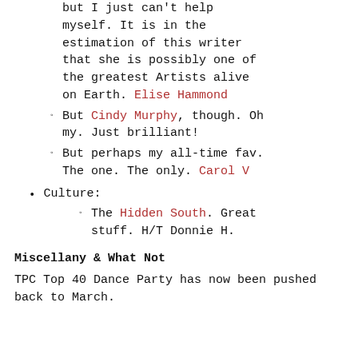but I just can't help myself. It is in the estimation of this writer that she is possibly one of the greatest Artists alive on Earth. Elise Hammond
But Cindy Murphy, though. Oh my. Just brilliant!
But perhaps my all-time fav. The one. The only. Carol V
Culture:
The Hidden South. Great stuff. H/T Donnie H.
Miscellany & What Not
TPC Top 40 Dance Party has now been pushed back to March.